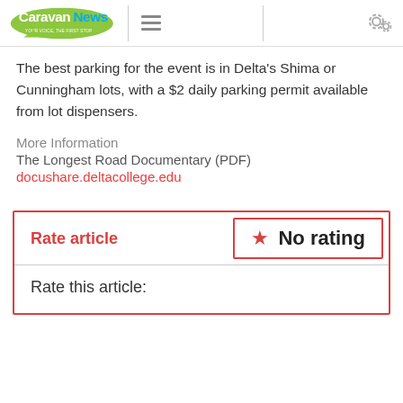CaravanNews [logo] [hamburger menu] [settings icon]
The best parking for the event is in Delta's Shima or Cunningham lots, with a $2 daily parking permit available from lot dispensers.
More Information
The Longest Road Documentary (PDF)
docushare.deltacollege.edu
Rate article
No rating
Rate this article: